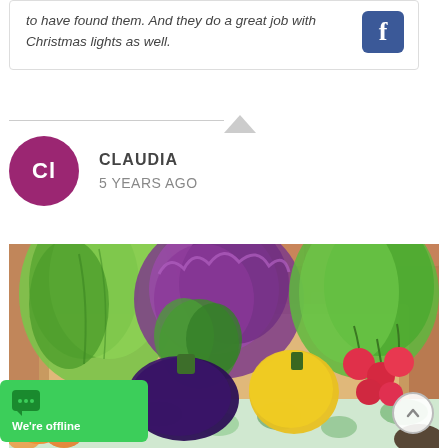to have found them. And they do a great job with Christmas lights as well.
CLAUDIA
5 YEARS AGO
[Figure (photo): A wooden box filled with fresh vegetables including lettuce, purple kale, eggplant, yellow bell pepper, radishes, and herbs, placed on a floral fabric with a brick wall in the background.]
We're offline